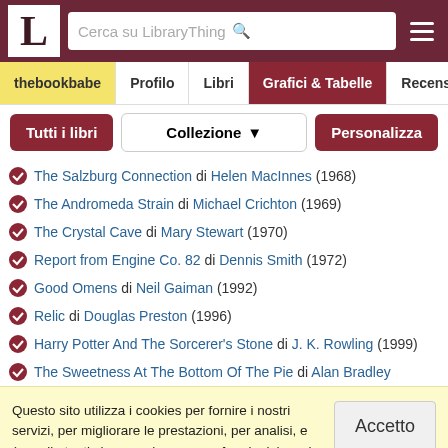[Figure (screenshot): LibraryThing website header with logo, search bar, and hamburger menu on dark red background]
thebookbabe | Profilo | Libri | Grafici & Tabelle | Recensioni
Tutti i libri | Collezione | Personalizza
The Salzburg Connection di Helen MacInnes (1968)
The Andromeda Strain di Michael Crichton (1969)
The Crystal Cave di Mary Stewart (1970)
Report from Engine Co. 82 di Dennis Smith (1972)
Good Omens di Neil Gaiman (1992)
Relic di Douglas Preston (1996)
Harry Potter And The Sorcerer's Stone di J. K. Rowling (1999)
The Sweetness At The Bottom Of The Pie di Alan Bradley
Questo sito utilizza i cookies per fornire i nostri servizi, per migliorare le prestazioni, per analisi, e (per gli utenti che accedono senza fare login) per la pubblicità. Usando LibraryThing confermi di aver letto e capito le nostre condizioni di servizio e la politica sulla privacy. Il tuo uso del sito e dei servizi è soggetto a tali politiche e condizioni.
Accetto